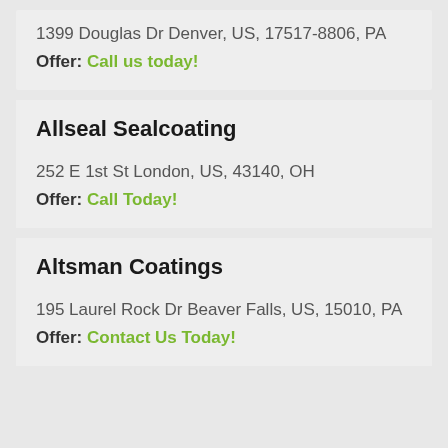1399 Douglas Dr Denver, US, 17517-8806, PA
Offer: Call us today!
Allseal Sealcoating
252 E 1st St London, US, 43140, OH
Offer: Call Today!
Altsman Coatings
195 Laurel Rock Dr Beaver Falls, US, 15010, PA
Offer: Contact Us Today!